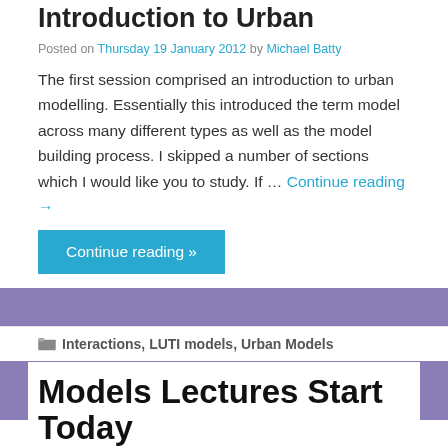Introduction to Urban Models
Posted on Thursday 19 January 2012 by Michael Batty
The first session comprised an introduction to urban modelling. Essentially this introduced the term model across many different types as well as the model building process. I skipped a number of sections which I would like you to study. If … Continue reading →
Continue reading »
Interactions, LUTI models, Urban Models
Models Lectures Start Today
Posted on Tuesday 20 December 2011 by Michael Batty